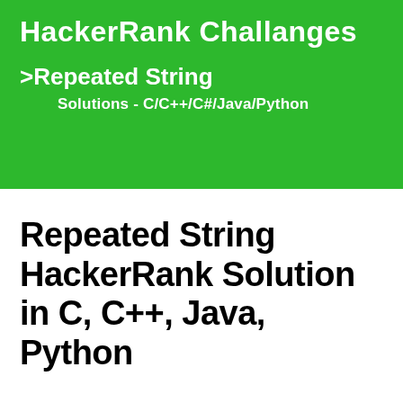HackerRank Challanges
>Repeated String
Solutions - C/C++/C#/Java/Python
Repeated String HackerRank Solution in C, C++, Java, Python